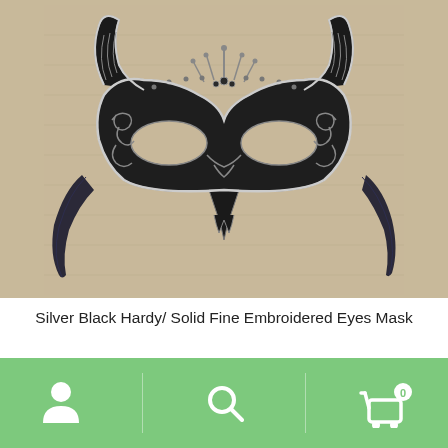[Figure (photo): A black and silver intricate embroidered masquerade/venetian eye mask with decorative scrollwork, lace-like mesh, a central crown motif, two horn-like extensions at the top corners, and dark ribbon ties on each side. Photographed against a beige/tan fabric background.]
Silver Black Hardy/ Solid Fine Embroidered Eyes Mask
$14.10
[Figure (infographic): Green bottom navigation bar with three icons: a white person/user icon on the left, a white magnifying glass/search icon in the center, and a white shopping cart icon on the right with a badge showing '0'.]